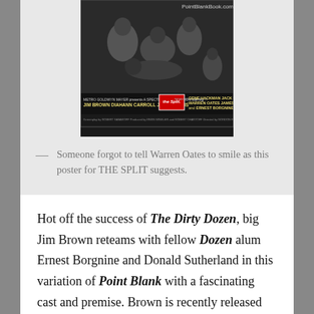[Figure (photo): Black and white movie poster for 'The Split' showing Jim Brown, Diahann Carroll, Julie Harris, Gene Hackman, Jack Klugman, Warren Oates, James Whitmore, and Ernest Borgnine. PointBlankBook.com watermark visible.]
— Someone forgot to tell Warren Oates to smile as this poster for THE SPLIT suggests.
Hot off the success of The Dirty Dozen, big Jim Brown reteams with fellow Dozen alum Ernest Borgnine and Donald Sutherland in this variation of Point Blank with a fascinating cast and premise. Brown is recently released from prison and is hired by mob boss Julie Harris (!) to rob a football stadium with cohorts Borgnine and Sutherland along with Warren Oates and Jack Klugman. As a typical 60s caper film it fits its time period but the sparks really fly AFTER the caper as the title suggests.